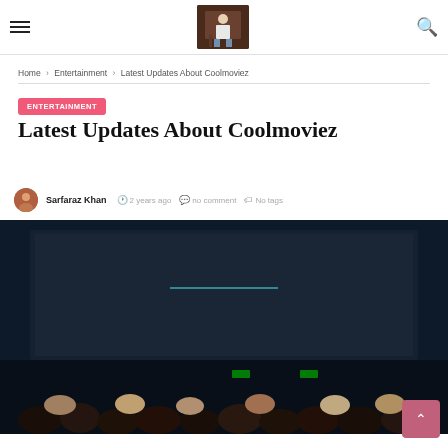Hamburger menu | Logo | Search icon
Home > Entertainment > Latest Updates About Coolmoviez
ENTERTAINMENT
Latest Updates About Coolmoviez
Sarfaraz Khan  2 years ago  no comment  No tags
[Figure (photo): Dark cinema theater interior showing a large screen with a faint blue-green horizontal line, silhouettes of audience members visible at the bottom]